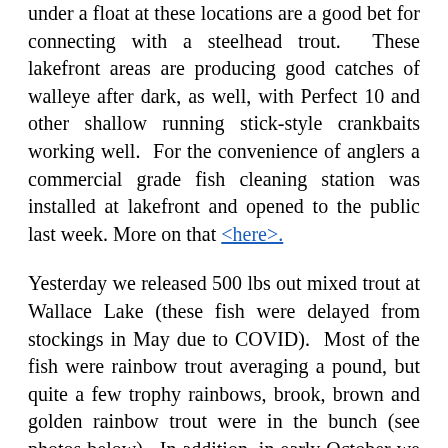under a float at these locations are a good bet for connecting with a steelhead trout. These lakefront areas are producing good catches of walleye after dark, as well, with Perfect 10 and other shallow running stick-style crankbaits working well. For the convenience of anglers a commercial grade fish cleaning station was installed at lakefront and opened to the public last week. More on that <here>.
Yesterday we released 500 lbs out mixed trout at Wallace Lake (these fish were delayed from stockings in May due to COVID). Most of the fish were rainbow trout averaging a pound, but quite a few trophy rainbows, brook, brown and golden rainbow trout were in the bunch (see photos below). In addition, in early October we stocked 1,000 lbs of rainbow trout and 600 lbs of channel catfish at the Ohio & Erie Canal off E49th Street. Note: the daily limit at Wallace Lake is 3 trout/angler and the limit at the canal is 5